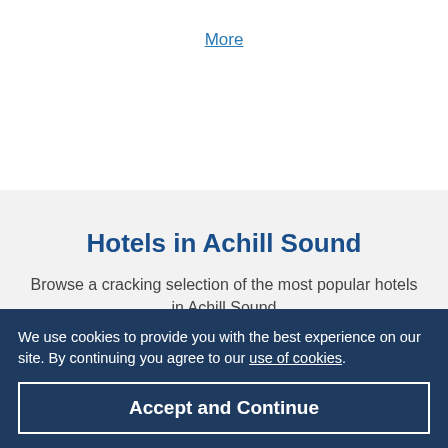More
Hotels in Achill Sound
Browse a cracking selection of the most popular hotels in Achill Sound
Offers
We use cookies to provide you with the best experience on our site. By continuing you agree to our use of cookies.
Accept and Continue